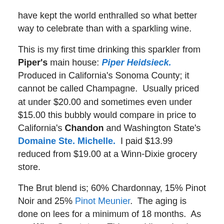have kept the world enthralled so what better way to celebrate than with a sparkling wine.
This is my first time drinking this sparkler from Piper's main house: Piper Heidsieck. Produced in California's Sonoma County; it cannot be called Champagne. Usually priced at under $20.00 and sometimes even under $15.00 this bubbly would compare in price to California's Chandon and Washington State's Domaine Ste. Michelle. I paid $13.99 reduced from $19.00 at a Winn-Dixie grocery store.
The Brut blend is; 60% Chardonnay, 15% Pinot Noir and 25% Pinot Meunier. The aging is done on lees for a minimum of 18 months. As per Wine Spectator– This sparkling wine is made from hand-picked Champagne grapes grown in the Northern reaches of Sonoma County